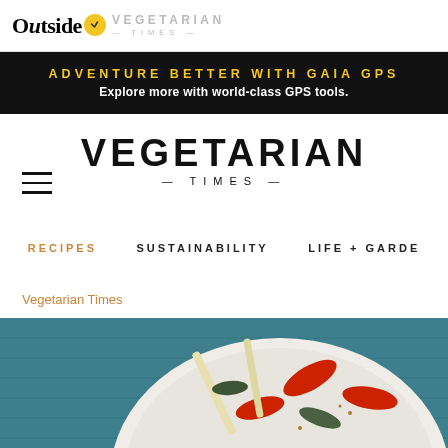Outside | VEGETARIAN TIMES
[Figure (infographic): Advertisement banner: ADVENTURE BETTER WITH GAIA GPS — Explore more with world-class GPS tools.]
[Figure (logo): VEGETARIAN TIMES large masthead logo with hamburger menu icon]
RECIPES   SUSTAINABILITY   LIFE + GARDE
Vegetarian Times
[Figure (photo): Overhead photo of a white bowl containing pickled vegetables including red peppers and pale shoots, on a teal fabric background]